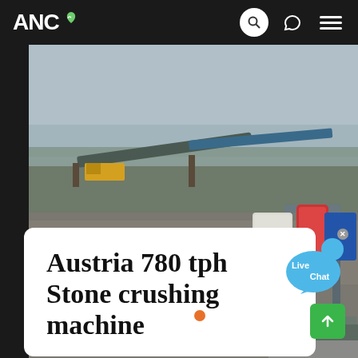ANC
[Figure (photo): Aerial view of a stone crushing / quarry site with conveyor belts, machinery, industrial equipment on the right side, dusty ground, and trees in background]
Austria 780 tph Stone crushing machine
[Figure (illustration): Live Chat speech bubble icon in blue]